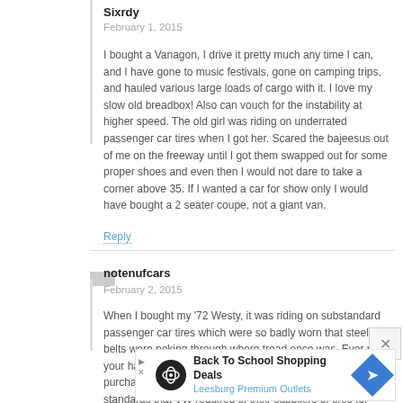Sixrdy
February 1, 2015
I bought a Vanagon, I drive it pretty much any time I can, and I have gone to music festivals, gone on camping trips, and hauled various large loads of cargo with it. I love my slow old breadbox! Also can vouch for the instability at higher speed. The old girl was riding on underrated passenger car tires when I got her. Scared the bajeesus out of me on the freeway until I got them swapped out for some proper shoes and even then I would not dare to take a corner above 35. If I wanted a car for show only I would have bought a 2 seater coupe, not a giant van.
Reply
notenufcars
February 2, 2015
When I bought my '72 Westy, it was riding on substandard passenger car tires which were so badly worn that steel belts were poking through where tread once was. Ever run your hand over one of these? Ouch! I immediately purchased a set of 8 ply tires. I read that this was one of the standards that VW required of their suppliers of tires for their Type 2 vehicles. I find these tires to be very stable.
[Figure (infographic): Advertisement banner: Back To School Shopping Deals - Leesburg Premium Outlets with logo and directional arrow icon]